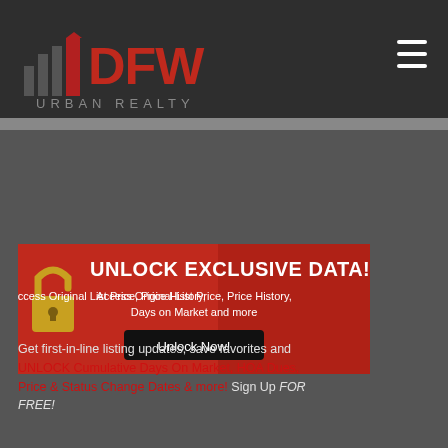[Figure (logo): DFW Urban Realty logo - stylized city skyline silhouette with red DFW text and URBAN REALTY below in gray]
[Figure (infographic): Hamburger menu icon - three white horizontal lines on dark background]
[Figure (infographic): Unlock Exclusive Data banner - red background with gold padlock icon, white bold text reading UNLOCK EXCLUSIVE DATA!, Access Original List Price, Price History, Days on Market and more, and a black Unlock Now! button]
Get first-in-line listing updates, save favorites and UNLOCK Cumulative Days On Market, HOA Dues, Price & Status Change Dates & more! Sign Up FOR FREE!